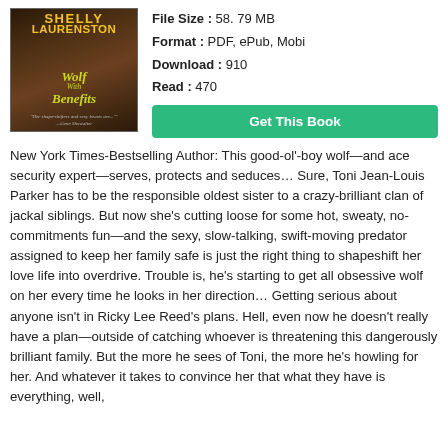[Figure (illustration): Book cover of 'Wolf With Benefits' by Shelly Laurenston, showing a dark fantasy/romance cover with gold and yellow-green title text on a dark background.]
File Size : 58. 79 MB
Format : PDF, ePub, Mobi
Download : 910
Read : 470
Get This Book
New York Times-Bestselling Author: This good-ol'-boy wolf—and ace security expert—serves, protects and seduces… Sure, Toni Jean-Louis Parker has to be the responsible oldest sister to a crazy-brilliant clan of jackal siblings. But now she's cutting loose for some hot, sweaty, no-commitments fun—and the sexy, slow-talking, swift-moving predator assigned to keep her family safe is just the right thing to shapeshift her love life into overdrive. Trouble is, he's starting to get all obsessive wolf on her every time he looks in her direction… Getting serious about anyone isn't in Ricky Lee Reed's plans. Hell, even now he doesn't really have a plan—outside of catching whoever is threatening this dangerously brilliant family. But the more he sees of Toni, the more he's howling for her. And whatever it takes to convince her that what they have is everything, well,